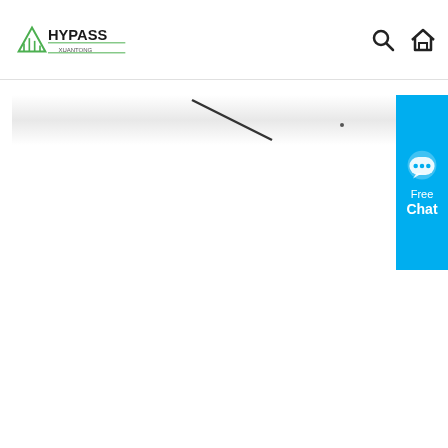HYPASS XUANTONG
[Figure (photo): A narrow horizontal product image showing a thin elongated white/silver strip or panel with a diagonal dark line/stripe across it, likely a building material or architectural product.]
[Figure (infographic): Free Chat widget button on the right side in cyan/blue color with a chat bubble icon, 'Free' text and 'Chat' text in bold.]